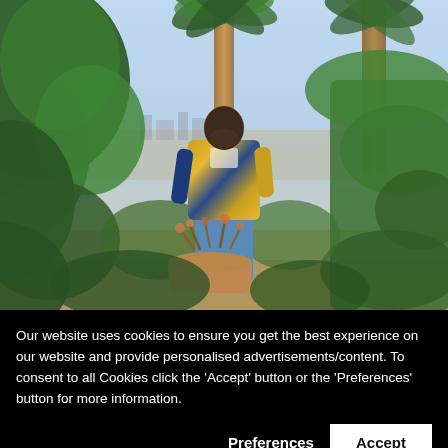[Figure (photo): Outdoor garden/patio scene with lush green foliage and palm trees. A person wearing a colorful patterned shirt (yellow/black/blue) and blue jeans stands looking down, surrounded by tropical plants. In the background is a city view and a clear sky. A terracotta pot with plants is visible in the foreground.]
Our website uses cookies to ensure you get the best experience on our website and provide personalised advertisements/content. To consent to all Cookies click the 'Accept' button or the 'Preferences' button for more information.